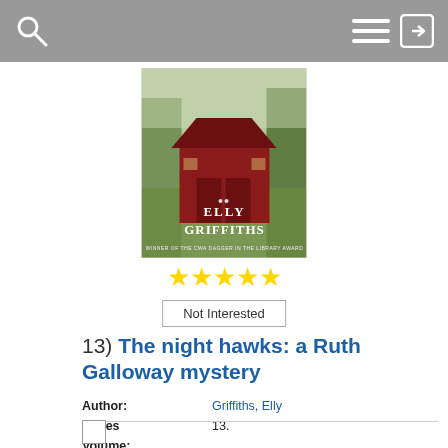[Figure (screenshot): Library app screenshot showing book listing for 'The night hawks: a Ruth Galloway mystery' by Griffiths, Elly. Includes book cover image, 5-star rating, Not Interested button, metadata fields, and action buttons.]
Not Interested
13) The night hawks: a Ruth Galloway mystery
| Author: | Griffiths, Elly |
| Series Volume: | 13. |
| Formats: | Book, Hoopla eAudiobook, Hoopla eBook, OverDrive eAudiobook, OverDrive eBook |
| Description: | Click to view |